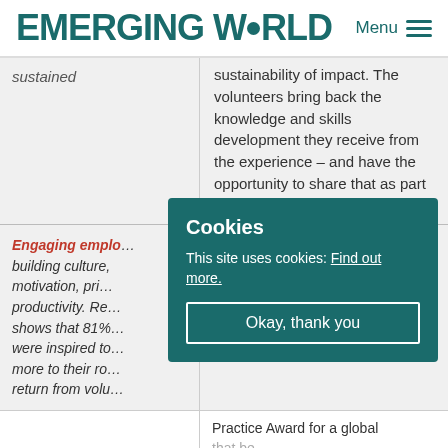EMERGING WORLD  Menu
|  |  |
| --- | --- |
| sustained | sustainability of impact. The volunteers bring back the knowledge and skills development they receive from the experience – and have the opportunity to share that as part of their reintegration. |
| Engaging emplo... building culture... motivation, pri... productivity. Re... shows that 81%... were inspired to... more to their ro... return from volu... | Practice Award for a global that be... |
[Figure (other): Cookie consent overlay with title 'Cookies', text 'This site uses cookies: Find out more.' and button 'Okay, thank you']